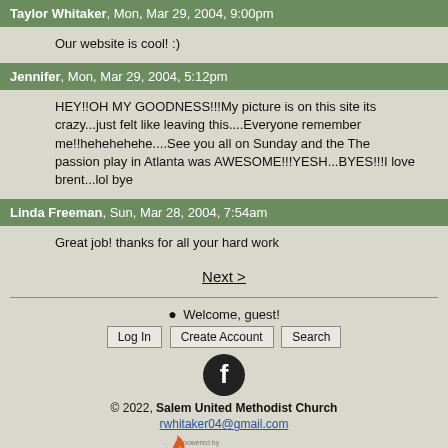Taylor Whitaker, Mon, Mar 29, 2004, 9:00pm
Our website is cool! :)
Jennifer, Mon, Mar 29, 2004, 5:12pm
HEY!!OH MY GOODNESS!!!My picture is on this site its crazy...just felt like leaving this....Everyone remember me!!hehehehehe....See you all on Sunday and the The passion play in Atlanta was AWESOME!!!YESH...BYES!!!I love brent...lol bye
Linda Freeman, Sun, Mar 28, 2004, 7:54am
Great job! thanks for all your hard work
Next >
Welcome, guest!
Log In   Create Account   Search
[Figure (logo): Facebook logo circle icon]
© 2022, Salem United Methodist Church
rwhitaker04@gmail.com
[Figure (logo): Powered by ThisChurch logo with flame icon]